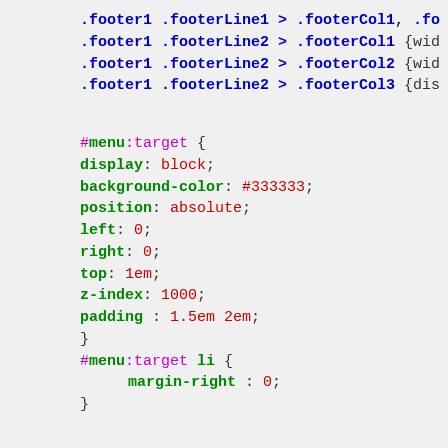.footer1 .footerLine1 > .footerCol1, .fo
.footer1 .footerLine2 > .footerCol1 {wid
.footer1 .footerLine2 > .footerCol2 {wid
.footer1 .footerLine2 > .footerCol3 {dis
#menu:target { display: block; background-color: #333333; position: absolute; left: 0; right: 0; top: 1em; z-index: 1000; padding : 1.5em 2em; }
#menu:target li { margin-right : 0; }